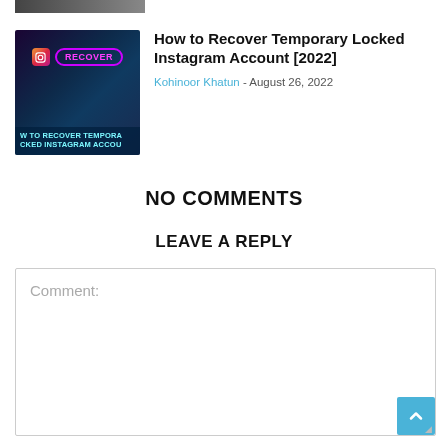[Figure (screenshot): Partial thumbnail image strip at top of page]
[Figure (screenshot): Article thumbnail image for 'How to Recover Temporary Locked Instagram Account [2022]' showing Instagram logo and neon 'RECOVER' pill text on dark background with teal text lines]
How to Recover Temporary Locked Instagram Account [2022]
Kohinoor Khatun - August 26, 2022
NO COMMENTS
LEAVE A REPLY
Comment: